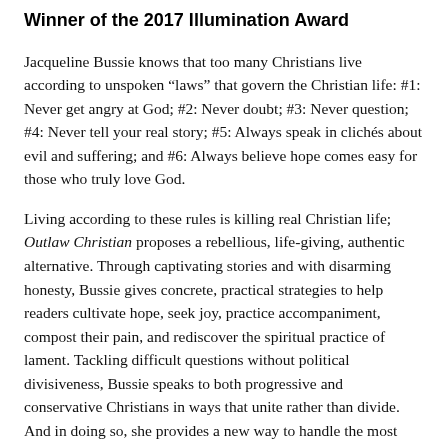Winner of the 2017 Illumination Award
Jacqueline Bussie knows that too many Christians live according to unspoken “laws” that govern the Christian life: #1: Never get angry at God; #2: Never doubt; #3: Never question; #4: Never tell your real story; #5: Always speak in clichés about evil and suffering; and #6: Always believe hope comes easy for those who truly love God.
Living according to these rules is killing real Christian life; Outlaw Christian proposes a rebellious, life-giving, authentic alternative. Through captivating stories and with disarming honesty, Bussie gives concrete, practical strategies to help readers cultivate hope, seek joy, practice accompaniment, compost their pain, and rediscover the spiritual practice of lament. Tackling difficult questions without political divisiveness, Bussie speaks to both progressive and conservative Christians in ways that unite rather than divide. And in doing so, she provides a new way to handle the most